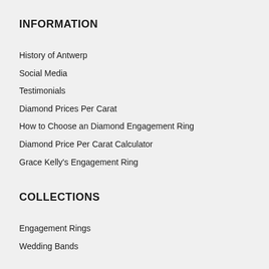INFORMATION
History of Antwerp
Social Media
Testimonials
Diamond Prices Per Carat
How to Choose an Diamond Engagement Ring
Diamond Price Per Carat Calculator
Grace Kelly's Engagement Ring
COLLECTIONS
Engagement Rings
Wedding Bands
Eternity Rings